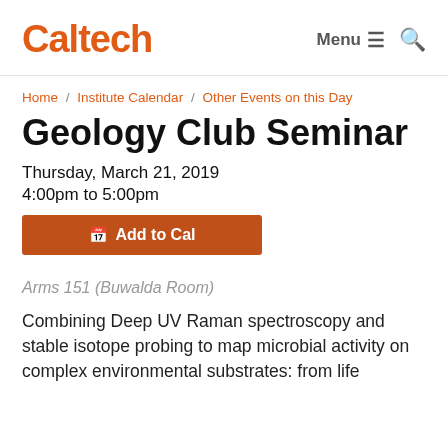Caltech   Menu ☰  🔍
Home / Institute Calendar / Other Events on this Day
Geology Club Seminar
Thursday, March 21, 2019
4:00pm to 5:00pm
📅 Add to Cal
Arms 151 (Buwalda Room)
Combining Deep UV Raman spectroscopy and stable isotope probing to map microbial activity on complex environmental substrates: from life